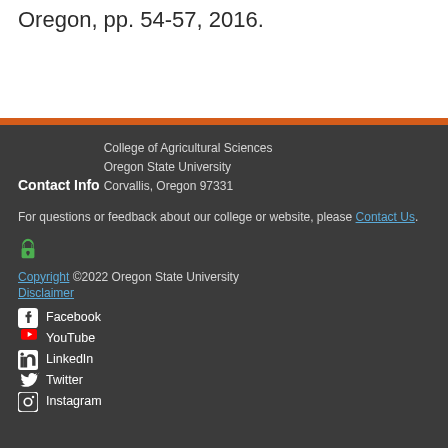Insect management Conference, Portland, Oregon, pp. 54-57, 2016.
Contact Info
College of Agricultural Sciences
Oregon State University
Corvallis, Oregon 97331
For questions or feedback about our college or website, please Contact Us.
Copyright ©2022 Oregon State University
Disclaimer
Facebook
YouTube
LinkedIn
Twitter
Instagram